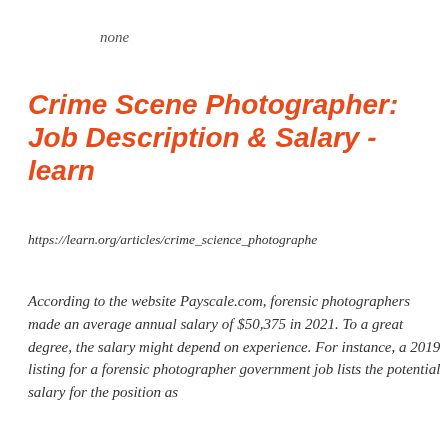none
Crime Scene Photographer: Job Description & Salary - learn
https://learn.org/articles/crime_science_photographer
According to the website Payscale.com, forensic photographers made an average annual salary of $50,375 in 2021. To a great degree, the salary might depend on experience. For instance, a 2019 listing for a forensic photographer government job lists the potential salary for the position as